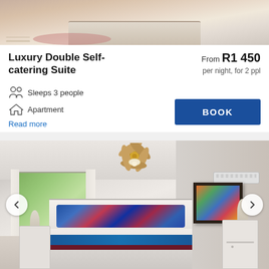[Figure (photo): Top partial view of a luxury hotel bedroom with beige/neutral tones, hardwood-style floor, pink rug, and bed partially visible]
Luxury Double Self-catering Suite
From R1 450
per night, for 2 ppl
Sleeps 3 people
Apartment
Read more
BOOK
[Figure (photo): Full luxury bedroom suite with ceiling fan, sliding glass doors to garden/pool, colorful artwork on wall, king bed with blue and multicolored pillows and teal/burgundy runner, white nightstand with lamp, and air conditioning unit on wall. Previous and next navigation arrows on sides.]